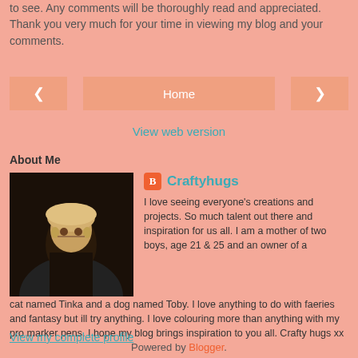to see. Any comments will be thoroughly read and appreciated. Thank you very much for your time in viewing my blog and your comments.
[Figure (other): Navigation buttons: left arrow, Home button, right arrow]
View web version
About Me
[Figure (photo): Profile photo of a blonde woman in dark clothing]
Craftyhugs
I love seeing everyone's creations and projects. So much talent out there and inspiration for us all. I am a mother of two boys, age 21 & 25 and an owner of a cat named Tinka and a dog named Toby. I love anything to do with faeries and fantasy but ill try anything. I love colouring more than anything with my pro marker pens. I hope my blog brings inspiration to you all. Crafty hugs xx
View my complete profile
Powered by Blogger.